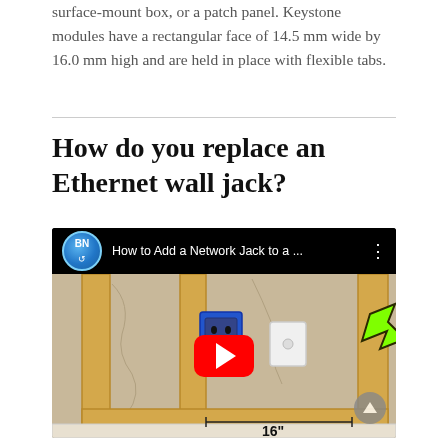surface-mount box, or a patch panel. Keystone modules have a rectangular face of 14.5 mm wide by 16.0 mm high and are held in place with flexible tabs.
How do you replace an Ethernet wall jack?
[Figure (screenshot): YouTube video thumbnail showing 'How to Add a Network Jack to a ...' with BN channel logo, a wall framing illustration with a blue electrical box, a white wall plate, a green arrow pointing to it, a red YouTube play button, and '16"' measurement label at the bottom.]